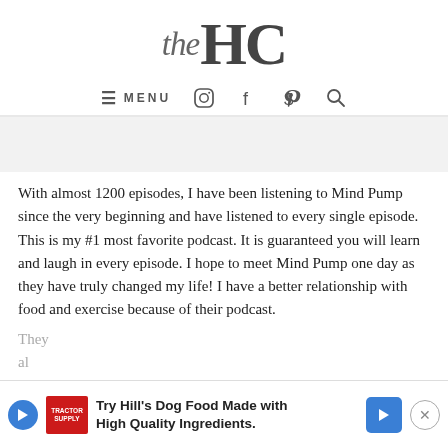the HC
≡ MENU  [instagram] [facebook] [pinterest] [search]
With almost 1200 episodes, I have been listening to Mind Pump since the very beginning and have listened to every single episode. This is my #1 most favorite podcast. It is guaranteed you will learn and laugh in every episode. I hope to meet Mind Pump one day as they have truly changed my life! I have a better relationship with food and exercise because of their podcast.
[Figure (screenshot): Advertisement banner: Try Hill's Dog Food Made with High Quality Ingredients, with Tractor Supply logo, blue play button, blue arrow icon, and X close button]
They al...                                                   of